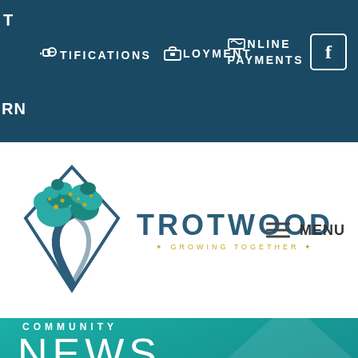NOTIFICATIONS   EMPLOYMENT   ONLINE PAYMENTS   [Facebook]
[Figure (logo): Trotwood city logo - diamond shaped emblem with tree design and text TROTWOOD GROWING TOGETHER]
MENU
COMMUNITY NEWS